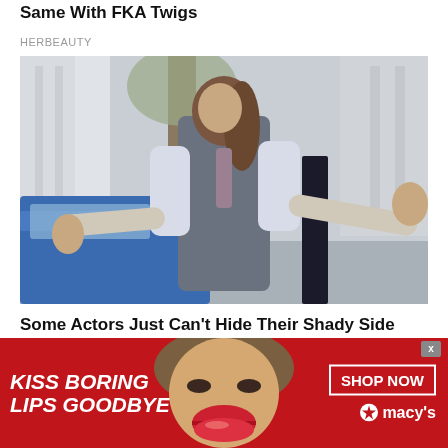Same With FKA Twigs
HERBEAUTY
[Figure (photo): Man in grey vest and white shirt spreading arms wide, standing next to a blue car door, outdoors with trees in background]
Some Actors Just Can't Hide Their Shady Side
BRAINBERRIES
[Figure (photo): Partial view of bottom article teaser image]
[Figure (infographic): Macy's advertisement banner with red background showing 'KISS BORING LIPS GOODBYE' text on left, woman's face with red lips in center, and 'SHOP NOW' button with Macy's logo on right]